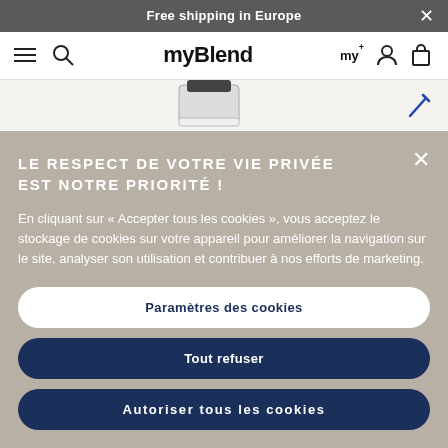Free shipping in Europe
[Figure (screenshot): myBlend website navigation bar with hamburger menu, search icon, myBlend logo, my+ loyalty icon, user icon, and bag icon]
[Figure (photo): Partial product image (white cylindrical container) with a pencil edit icon on the right]
LE RESPECT DE VOTRE VIE PRIVÉE EST NOTRE PRIORITÉ !
En cliquant sur « Accepter tous les cookies », vous acceptez le stockage de cookies sur votre appareil pour améliorer la navigation sur le site, analyser son utilisation et contribuer à nos efforts de marketing.
Paramètres des cookies
Tout refuser
Autoriser tous les cookies